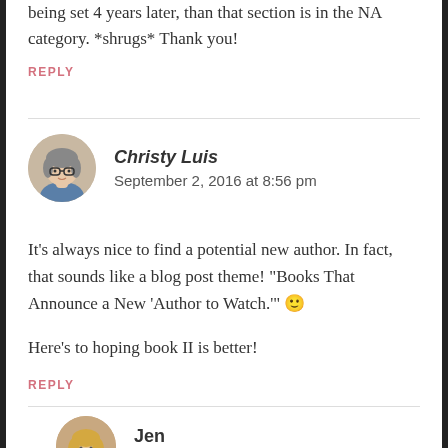being set 4 years later, than that section is in the NA category. *shrugs* Thank you!
REPLY
Christy Luis
September 2, 2016 at 8:56 pm
It’s always nice to find a potential new author. In fact, that sounds like a blog post theme! “Books That Announce a New ‘Author to Watch.’” 🙂
Here’s to hoping book II is better!
REPLY
Jen
September 5, 2016 at 11:43